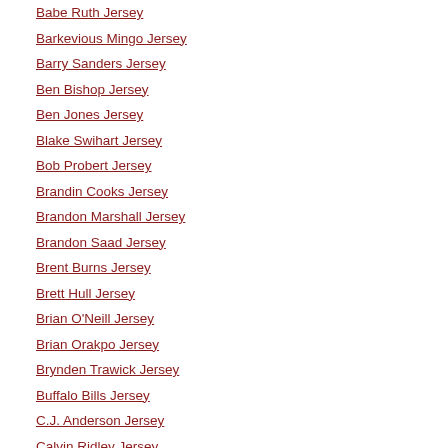Babe Ruth Jersey
Barkevious Mingo Jersey
Barry Sanders Jersey
Ben Bishop Jersey
Ben Jones Jersey
Blake Swihart Jersey
Bob Probert Jersey
Brandin Cooks Jersey
Brandon Marshall Jersey
Brandon Saad Jersey
Brent Burns Jersey
Brett Hull Jersey
Brian O'Neill Jersey
Brian Orakpo Jersey
Brynden Trawick Jersey
Buffalo Bills Jersey
C.J. Anderson Jersey
Calvin Ridley Jersey
Cam Atkinson Jersey
Cam Robinson Jersey
Case Keenum Jersey